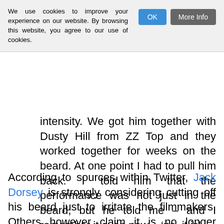We use cookies to improve your experience on our website. By browsing this website, you agree to our use of cookies.
intensity. We got him together with Dusty Hill from ZZ Top and they worked together for weeks on the beard. At one point I had to pull him back. I told him that the performance was not just in the beard, but he told me – and I remember it even now – ‘no, it is’.
According to sources within Twitter, Jack Dorsey is strongly considering cutting off his beard just to irritate the filmmakers. Others however claim it is no longer possible because – as frequently happens with long beard wearers – Jack Dorsey's chin has